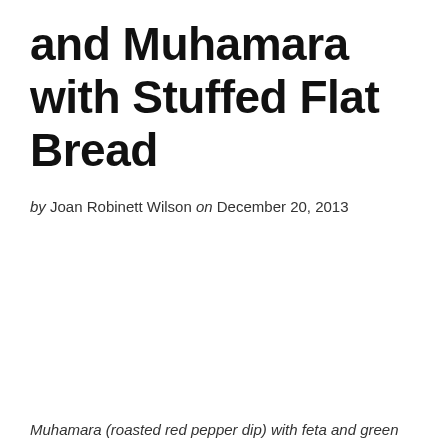and Muhamara with Stuffed Flat Bread
by Joan Robinett Wilson on December 20, 2013
Muhamara (roasted red pepper dip) with feta and green